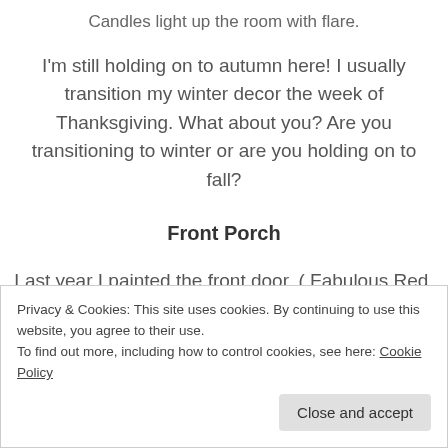Candles light up the room with flare.
I'm still holding on to autumn here! I usually transition my winter decor the week of Thanksgiving. What about you? Are you transitioning to winter or are you holding on to fall?
Front Porch
Last year I painted the front door. ( Fabulous Red,
Privacy & Cookies: This site uses cookies. By continuing to use this website, you agree to their use.
To find out more, including how to control cookies, see here: Cookie Policy
Close and accept